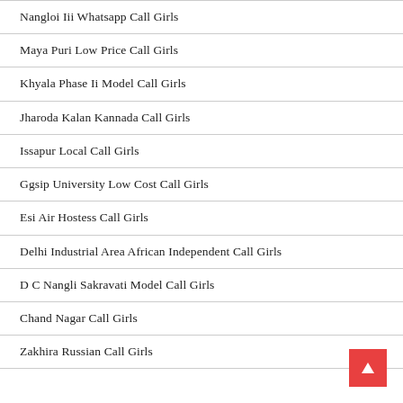Nangloi Iii Whatsapp Call Girls
Maya Puri Low Price Call Girls
Khyala Phase Ii Model Call Girls
Jharoda Kalan Kannada Call Girls
Issapur Local Call Girls
Ggsip University Low Cost Call Girls
Esi Air Hostess Call Girls
Delhi Industrial Area African Independent Call Girls
D C Nangli Sakravati Model Call Girls
Chand Nagar Call Girls
Zakhira Russian Call Girls